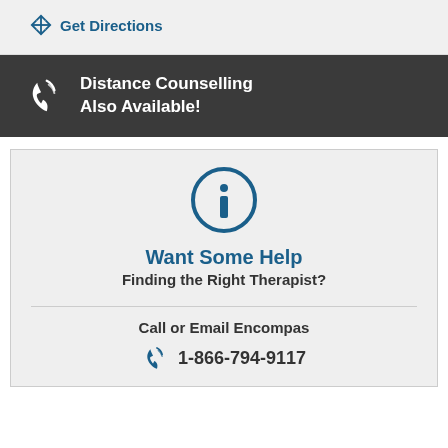Get Directions
Distance Counselling Also Available!
Want Some Help Finding the Right Therapist?
Call or Email Encompas
1-866-794-9117